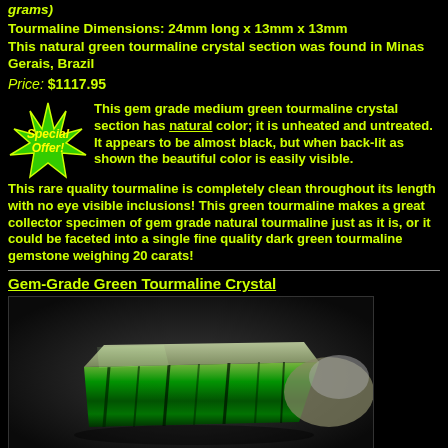grams)
Tourmaline Dimensions: 24mm long x 13mm x 13mm
This natural green tourmaline crystal section was found in Minas Gerais, Brazil
Price: $1117.95
[Figure (illustration): Special Offer star burst badge in green and yellow]
This gem grade medium green tourmaline crystal section has natural color; it is unheated and untreated. It appears to be almost black, but when back-lit as shown the beautiful color is easily visible. This rare quality tourmaline is completely clean throughout its length with no eye visible inclusions! This green tourmaline makes a great collector specimen of gem grade natural tourmaline just as it is, or it could be faceted into a single fine quality dark green tourmaline gemstone weighing 20 carats!
Gem-Grade Green Tourmaline Crystal
[Figure (photo): Close-up photograph of a dark green tourmaline crystal specimen on a grey background, showing the characteristic columnar crystal structure with striations and greenish matrix.]